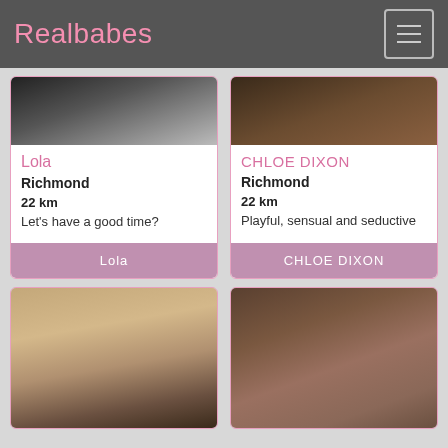Realbabes
[Figure (photo): Profile photo of Lola, partial crop at top]
Lola
Richmond
22 km
Let's have a good time?
[Figure (photo): Profile photo of Chloe Dixon, partial crop at top]
CHLOE DIXON
Richmond
22 km
Playful, sensual and seductive
[Figure (photo): Profile photo card 3, woman with blonde hair, partial]
[Figure (photo): Profile photo card 4, woman posing, partial]